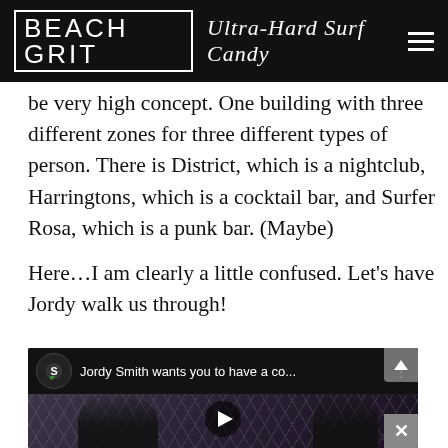BEACH GRIT Ultra-Hard Surf Candy
be very high concept. One building with three different zones for three different types of person. There is District, which is a nightclub, Harringtons, which is a cocktail bar, and Surfer Rosa, which is a punk bar. (Maybe)
Here…I am clearly a little confused. Let's have Jordy walk us through!
[Figure (screenshot): YouTube video embed showing 'Jordy Smith wants you to have a co...' with a thumbnail of two people in formal attire seated in a luxurious setting, with a play button overlay]